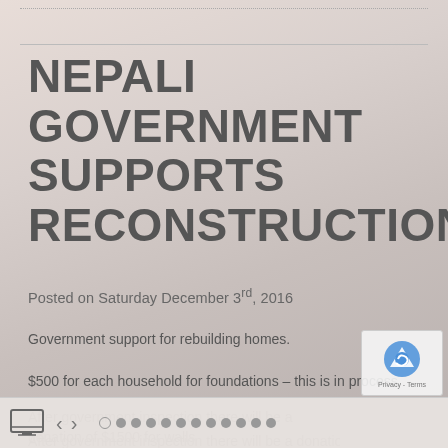NEPALI GOVERNMENT SUPPORTS RECONSTRUCTION
Posted on Saturday December 3rd, 2016
Government support for rebuilding homes.
$500 for each household for foundations – this is in process.
After government inspection there will be a donation of $1500 for walls
After government inspection there will be a donation of $500 for roo